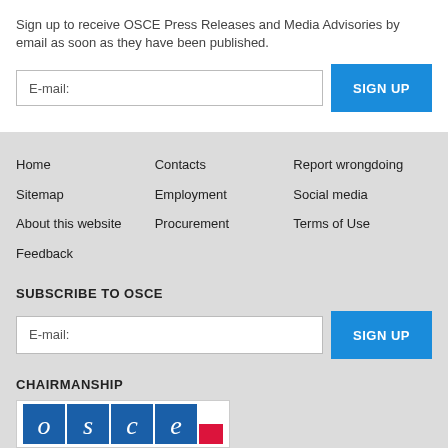Sign up to receive OSCE Press Releases and Media Advisories by email as soon as they have been published.
E-mail:
SIGN UP
Home
Sitemap
About this website
Feedback
Contacts
Employment
Procurement
Report wrongdoing
Social media
Terms of Use
SUBSCRIBE TO OSCE
E-mail:
SIGN UP
CHAIRMANSHIP
[Figure (logo): OSCE logo with Polish flag chairmanship branding]